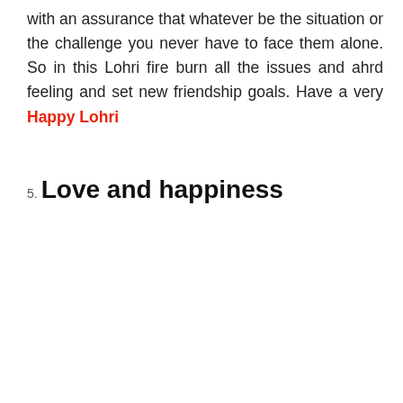with an assurance that whatever be the situation or the challenge you never have to face them alone. So in this Lohri fire burn all the issues and ahrd feeling and set new friendship goals. Have a very Happy Lohri
5. Love and happiness